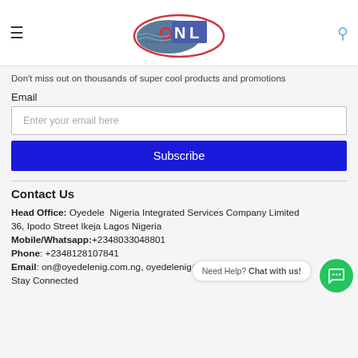CNL logo header with menu and search icons
Don't miss out on thousands of super cool products and promotions
Email
Enter your email here
Subscribe
Contact Us
Head Office: Oyedele  Nigeria Integrated Services Company Limited
36, Ipodo Street Ikeja Lagos Nigeria
Mobile/Whatsapp:+2348033048801
Phone: +2348128107841
Email: on@oyedelenig.com.ng, oyedelenig@gmail.com
Stay Connected